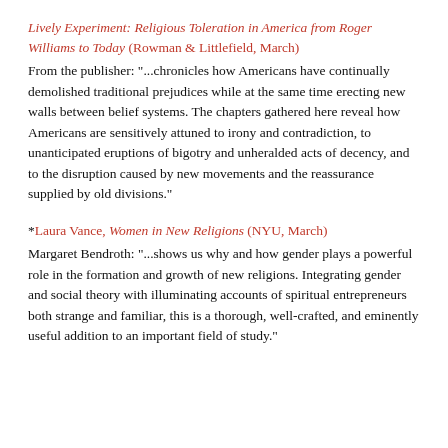Lively Experiment: Religious Toleration in America from Roger Williams to Today (Rowman & Littlefield, March)
From the publisher: "...chronicles how Americans have continually demolished traditional prejudices while at the same time erecting new walls between belief systems. The chapters gathered here reveal how Americans are sensitively attuned to irony and contradiction, to unanticipated eruptions of bigotry and unheralded acts of decency, and to the disruption caused by new movements and the reassurance supplied by old divisions."
*Laura Vance, Women in New Religions (NYU, March)
Margaret Bendroth: "...shows us why and how gender plays a powerful role in the formation and growth of new religions. Integrating gender and social theory with illuminating accounts of spiritual entrepreneurs both strange and familiar, this is a thorough, well-crafted, and eminently useful addition to an important field of study."